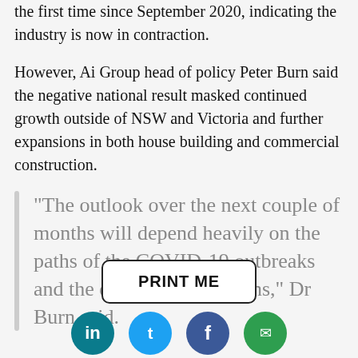the first time since September 2020, indicating the industry is now in contraction.
However, Ai Group head of policy Peter Burn said the negative national result masked continued growth outside of NSW and Victoria and further expansions in both house building and commercial construction.
“The outlook over the next couple of months will depend heavily on the paths of the COVID-19 outbreaks and the extent of restrictions,” Dr Burn said.
[Figure (other): PRINT ME button with rounded rectangle border]
[Figure (other): Social media share icons: LinkedIn (teal), Twitter (blue), Facebook (blue), Email/share (green)]